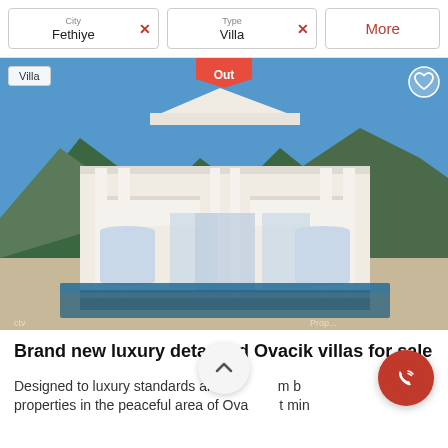City: Fethiye [x]   Type: Villa [x]   More
[Figure (photo): Luxury detached white villa with classical columns, balconies, arched ground floor windows, outdoor pool in foreground, mountain backdrop, blue sky. Labels: 'Villa' badge top-left, red heart/sold-out tag top-center, heart outline icon top-right.]
Brand new luxury detached Ovacik villas for sale
Designed to luxury standards are th m b properties in the peaceful area of Ova t min